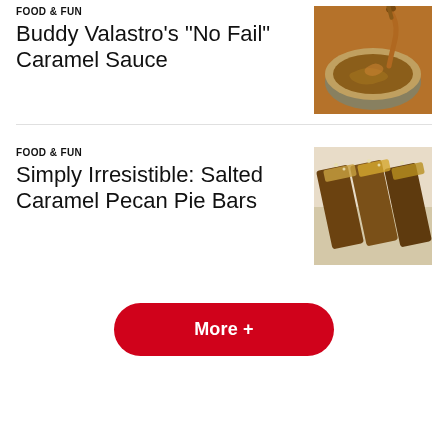FOOD & FUN
Buddy Valastro's "No Fail" Caramel Sauce
[Figure (photo): Caramel sauce being drizzled into a bowl with swirled caramel]
FOOD & FUN
Simply Irresistible: Salted Caramel Pecan Pie Bars
[Figure (photo): Salted caramel pecan pie bars on parchment paper]
More +